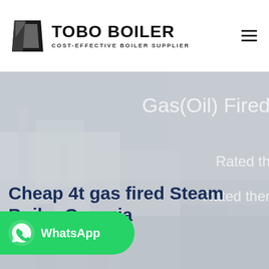[Figure (logo): TOBO BOILER logo with dark geometric icon and text: TOBO BOILER / COST-EFFECTIVE BOILER SUPPLIER]
[Figure (photo): Hero banner with industrial boiler equipment in the background, gray-blue toned photo. Right side shows partially visible text: 'Gas(Oil) Fired', 'Rated th...', 'Rated ther...' in light gray/white. Bottom left shows dark blue bold heading text overlaid on the image.]
Cheap 4t gas fired Steam Boiler Georgia
[Figure (other): WhatsApp contact button - green rounded button with WhatsApp icon and label 'WhatsApp']